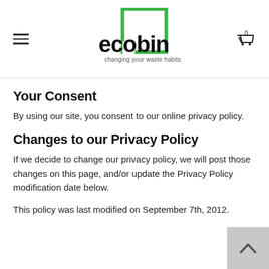[Figure (logo): Ecobin logo — green square outline with 'ecobin' bold black text and tagline 'changing your waste habits']
Your Consent
By using our site, you consent to our online privacy policy.
Changes to our Privacy Policy
If we decide to change our privacy policy, we will post those changes on this page, and/or update the Privacy Policy modification date below.
This policy was last modified on September 7th, 2012.